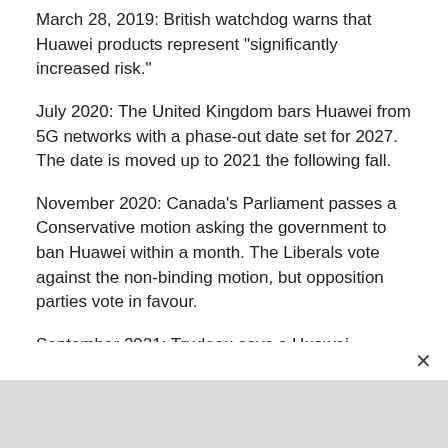March 28, 2019: British watchdog warns that Huawei products represent "significantly increased risk."
July 2020: The United Kingdom bars Huawei from 5G networks with a phase-out date set for 2027. The date is moved up to 2021 the following fall.
November 2020: Canada's Parliament passes a Conservative motion asking the government to ban Huawei within a month. The Liberals vote against the non-binding motion, but opposition parties vote in favour.
September 2021: Trudeau says a Huawei decision is coming "soon" following another federal election where he was returned as the leader of a second minority government.